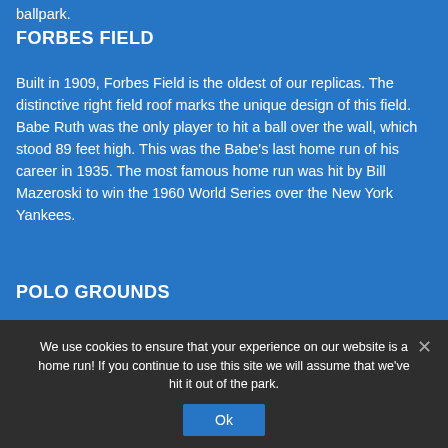ballpark.
FORBES FIELD
Built in 1909, Forbes Field is the oldest of our replicas. The distinctive right field roof marks the unique design of this field. Babe Ruth was the only player to hit a ball over the wall, which stood 89 feet high. This was the Babe's last home run of his career in 1935. The most famous home run was hit by Bill Mazeroski to win the 1960 World Series over the New York Yankees.
POLO GROUNDS
Originally built in 1911, the Polo Grounds was home to the Yankees, Giants, and Mets. The Giants had one of the...
We use cookies to ensure that your experience on our website is a home run! If you continue to use this site we will assume that we've hit it out of the park.